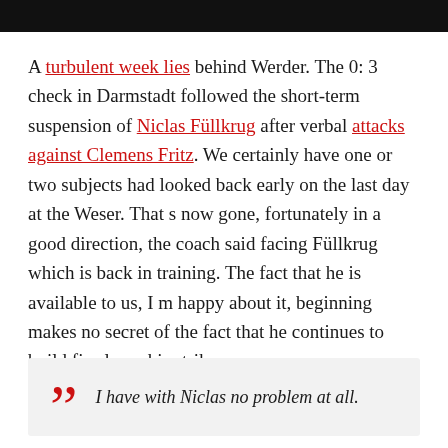A turbulent week lies behind Werder. The 0: 3 check in Darmstadt followed the short-term suspension of Niclas Füllkrug after verbal attacks against Clemens Fritz. We certainly have one or two subjects had looked back early on the last day at the Weser. That s now gone, fortunately in a good direction, the coach said facing Füllkrug which is back in training. The fact that he is available to us, I m happy about it, beginning makes no secret of the fact that he continues to build firmly on his strikers.
I have with Niclas no problem at all.